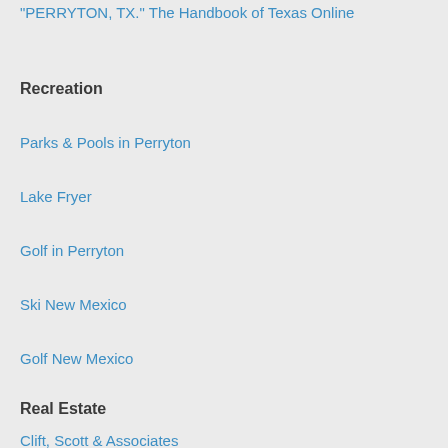"PERRYTON, TX." The Handbook of Texas Online
Recreation
Parks & Pools in Perryton
Lake Fryer
Golf in Perryton
Ski New Mexico
Golf New Mexico
Real Estate
Clift, Scott & Associates